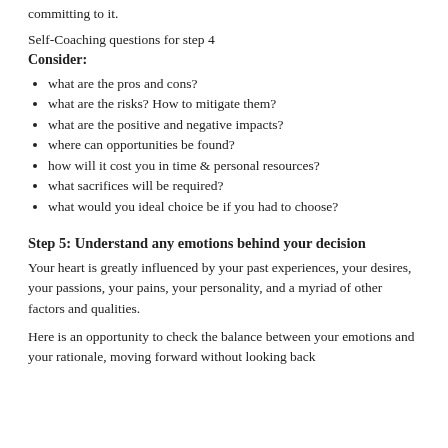committing to it.
Self-Coaching questions for step 4
Consider:
what are the pros and cons?
what are the risks? How to mitigate them?
what are the positive and negative impacts?
where can opportunities be found?
how will it cost you in time & personal resources?
what sacrifices will be required?
what would you ideal choice be if you had to choose?
Step 5: Understand any emotions behind your decision
Your heart is greatly influenced by your past experiences, your desires, your passions, your pains, your personality, and a myriad of other factors and qualities.
Here is an opportunity to check the balance between your emotions and your rationale, moving forward without looking back